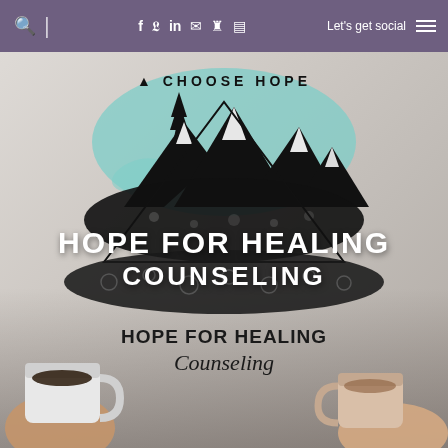Search | f tw in email pinterest instagram | Let's get social ☰
[Figure (logo): Hope for Healing Counseling website screenshot. Purple navigation bar at top with social icons and 'Let's get social' text. Main area shows a logo: 'CHOOSE HOPE' text above illustrated mountains with teal paint splash and floral details, overlaid with bold white uppercase text 'HOPE FOR HEALING COUNSELING'. Below the logo illustration is handwritten-style text 'Hope for Healing Counseling'. Background shows two hands holding coffee cups on a marble surface.]